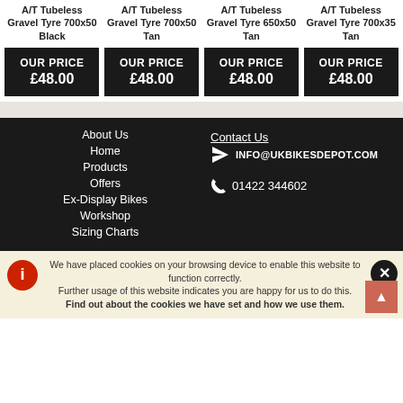A/T Tubeless Gravel Tyre 700x50 Black
OUR PRICE £48.00
A/T Tubeless Gravel Tyre 700x50 Tan
OUR PRICE £48.00
A/T Tubeless Gravel Tyre 650x50 Tan
OUR PRICE £48.00
A/T Tubeless Gravel Tyre 700x35 Tan
OUR PRICE £48.00
About Us
Home
Products
Offers
Ex-Display Bikes
Workshop
Sizing Charts
Contact Us
INFO@UKBIKESDEPOT.COM
01422 344602
We have placed cookies on your browsing device to enable this website to function correctly. Further usage of this website indicates you are happy for us to do this. Find out about the cookies we have set and how we use them.